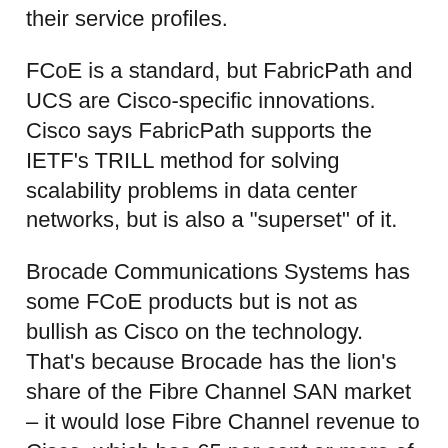their service profiles.
FCoE is a standard, but FabricPath and UCS are Cisco-specific innovations. Cisco says FabricPath supports the IETF’s TRILL method for solving scalability problems in data center networks, but is also a “superset” of it.
Brocade Communications Systems has some FCoE products but is not as bullish as Cisco on the technology. That’s because Brocade has the lion’s share of the Fibre Channel SAN market – it would lose Fibre Channel revenue to Cisco, which has 65 per cent or more of the Ethernet switching market, if the FCoE market takes off.
Brocade also claims its BrocadeOne architecture is standards-compliant in that it also supports TRILL